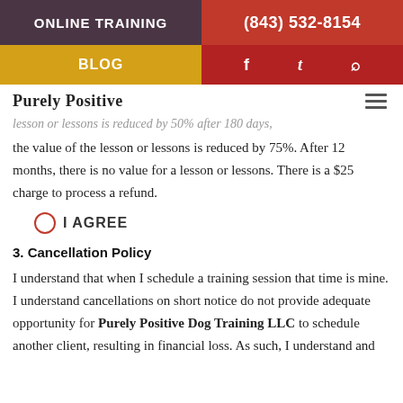ONLINE TRAINING | (843) 532-8154
BLOG | f | t | search
Purely Positive
...the value of the lesson or lessons is reduced by 75%. After 12 months, there is no value for a lesson or lessons. There is a $25 charge to process a refund.
I AGREE
3. Cancellation Policy
I understand that when I schedule a training session that time is mine. I understand cancellations on short notice do not provide adequate opportunity for Purely Positive Dog Training LLC to schedule another client, resulting in financial loss. As such, I understand and